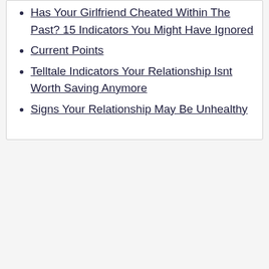Has Your Girlfriend Cheated Within The Past? 15 Indicators You Might Have Ignored
Current Points
Telltale Indicators Your Relationship Isnt Worth Saving Anymore
Signs Your Relationship May Be Unhealthy
Often, this includes making excuses primarily based on alcohol or drug use, psychological well being issues or past experiences . [newline]Here are a couple of of those things that I’ve learned do appear to say something asianfriendfinder in regards to the strength of your union, and may be thought of signs of a contented, healthy